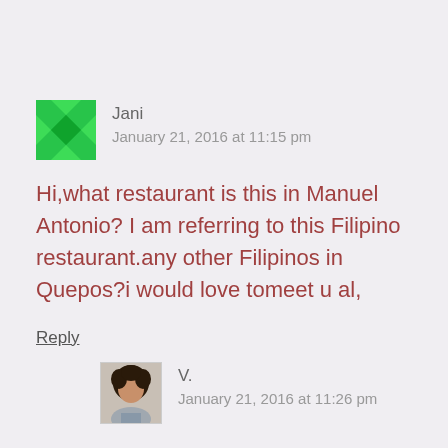[Figure (illustration): Green pixel-pattern avatar icon for user Jani]
Jani
January 21, 2016 at 11:15 pm
Hi,what restaurant is this in Manuel Antonio? I am referring to this Filipino restaurant.any other Filipinos in Quepos?i would love tomeet u al,
Reply
[Figure (photo): Small photo of a woman with dark curly hair, user V.]
V.
January 21, 2016 at 11:26 pm